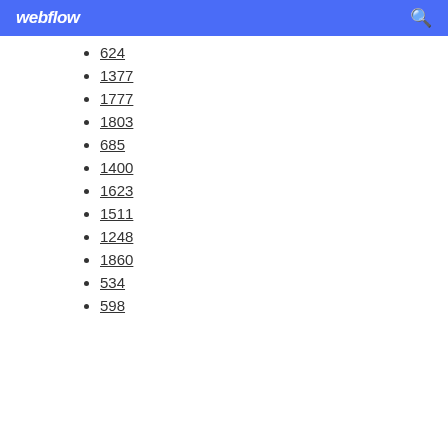webflow
624
1377
1777
1803
685
1400
1623
1511
1248
1860
534
598